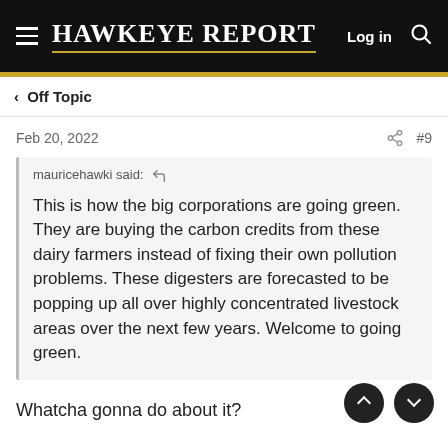HAWKEYE REPORT — Log in
< Off Topic
Feb 20, 2022  #9
mauricehawki said: ↩ This is how the big corporations are going green. They are buying the carbon credits from these dairy farmers instead of fixing their own pollution problems. These digesters are forecasted to be popping up all over highly concentrated livestock areas over the next few years. Welcome to going green.
Whatcha gonna do about it?